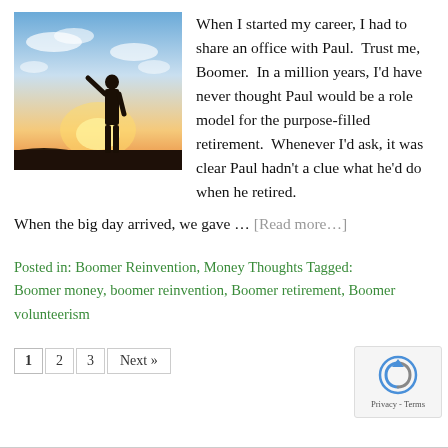[Figure (photo): Silhouette of a soldier saluting against a sunset sky with clouds]
When I started my career, I had to share an office with Paul.  Trust me, Boomer.  In a million years, I'd have never thought Paul would be a role model for the purpose-filled retirement.  Whenever I'd ask, it was clear Paul hadn't a clue what he'd do when he retired.
When the big day arrived, we gave … [Read more…]
Posted in: Boomer Reinvention, Money Thoughts Tagged: Boomer money, boomer reinvention, Boomer retirement, Boomer volunteerism
1  2  3  Next »